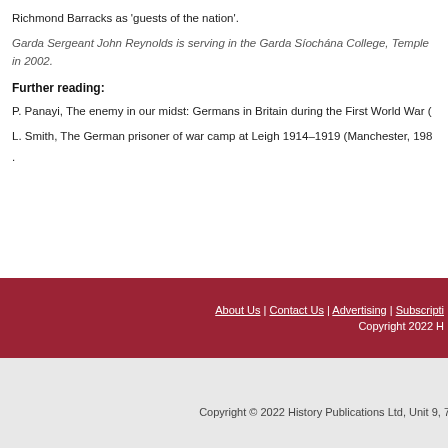Richmond Barracks as 'guests of the nation'.
Garda Sergeant John Reynolds is serving in the Garda Síochána College, Temple in 2002.
Further reading:
P. Panayi, The enemy in our midst: Germans in Britain during the First World War (
L. Smith, The German prisoner of war camp at Leigh 1914–1919 (Manchester, 198
.
About Us | Contact Us | Advertising | Subscripti Copyright 2022 H
Copyright © 2022 History Publications Ltd, Unit 9, 7